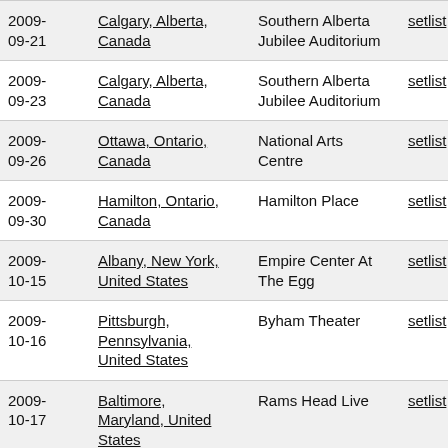| Date | Location | Venue |  |
| --- | --- | --- | --- |
| 2009-09-21 | Calgary, Alberta, Canada | Southern Alberta Jubilee Auditorium | setlist |
| 2009-09-23 | Calgary, Alberta, Canada | Southern Alberta Jubilee Auditorium | setlist |
| 2009-09-26 | Ottawa, Ontario, Canada | National Arts Centre | setlist |
| 2009-09-30 | Hamilton, Ontario, Canada | Hamilton Place | setlist |
| 2009-10-15 | Albany, New York, United States | Empire Center At The Egg | setlist |
| 2009-10-16 | Pittsburgh, Pennsylvania, United States | Byham Theater | setlist |
| 2009-10-17 | Baltimore, Maryland, United States | Rams Head Live | setlist |